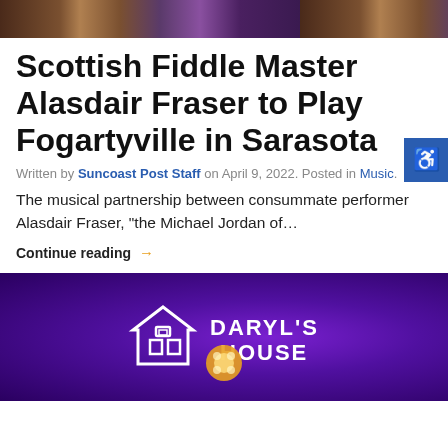[Figure (photo): Top banner image of a musician with a violin/fiddle, warm tones with purple stage lighting]
Scottish Fiddle Master Alasdair Fraser to Play Fogartyville in Sarasota
Written by Suncoast Post Staff on April 9, 2022. Posted in Music.
The musical partnership between consummate performer Alasdair Fraser, “the Michael Jordan of…
Continue reading →
[Figure (photo): Stage with purple lighting showing Daryl's House logo — a house outline in neon with 'DARYL'S HOUSE' text, with stage lights at bottom]